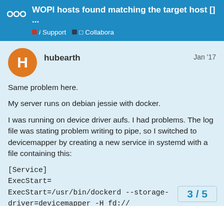WOPI hosts found matching the target host [] ...
i Support   □ Collabora
hubearth   Jan '17
Same problem here.
My server runs on debian jessie with docker.
I was running on device driver aufs. I had problems. The log file was stating problem writing to pipe, so I switched to devicemapper by creating a new service in systemd with a file containing this:
[Service]
ExecStart=
ExecStart=/usr/bin/dockerd --storage-driver=devicemapper -H fd://
Prior to start the new docker with devicemapper, I removed all docker processes and deleted the doc system was then clean to start again from...
3 / 5